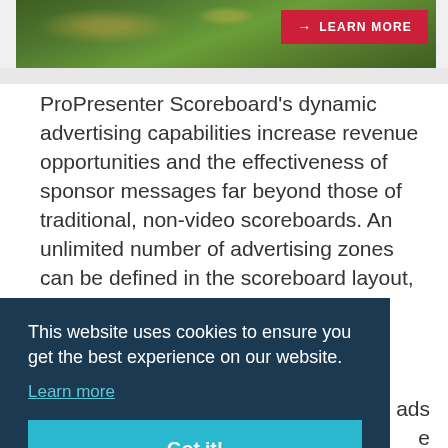[Figure (photo): Banner image showing grass/turf background with a red 'Learn More' button with arrow on the right side]
ProPresenter Scoreboard's dynamic advertising capabilities increase revenue opportunities and the effectiveness of sponsor messages far beyond those of traditional, non-video scoreboards. An unlimited number of advertising zones can be defined in the scoreboard layout, each automatically rotating ... o ads ... e ... eir ... board ... ing ... zing ... can be exported to provide advertisers with
This website uses cookies to ensure you get the best experience on our website.
Learn more
Got it!